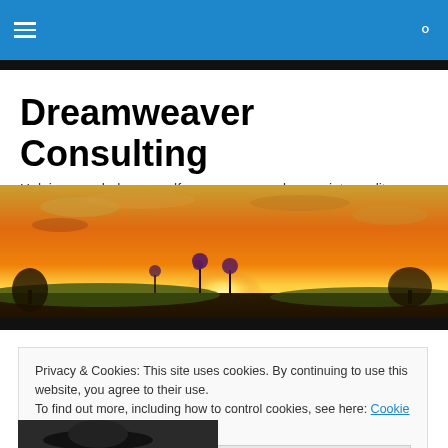Dreamweaver Consulting — navigation bar with hamburger menu and search icon
Dreamweaver Consulting
Helping you, help yourself … weave your dreams into reality
[Figure (photo): Panoramic sunset photo showing a golden sky with clouds, silhouetted wildflowers and fields in the foreground]
Privacy & Cookies: This site uses cookies. By continuing to use this website, you agree to their use.
To find out more, including how to control cookies, see here: Cookie Policy

Close and accept
[Figure (photo): Partial view of a person wearing a hat at the bottom of the page]